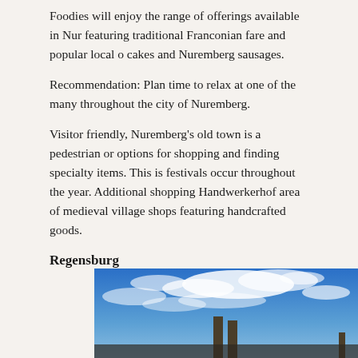Foodies will enjoy the range of offerings available in Nuremberg, featuring traditional Franconian fare and popular local delicacies like cakes and Nuremberg sausages.
Recommendation: Plan time to relax at one of the many parks throughout the city of Nuremberg.
Visitor friendly, Nuremberg's old town is a pedestrian oriented area with options for shopping and finding specialty items. This is also where festivals occur throughout the year. Additional shopping can be found in the Handwerkerhof area of medieval village shops featuring authentic handcrafted goods.
Regensburg
[Figure (photo): Photo of Regensburg cathedral spires against a blue sky with wispy white clouds]